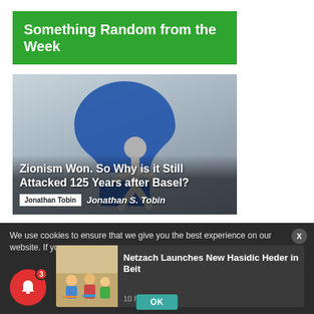Something Random from the Week
[Figure (illustration): A 3D grey stick figure leaning against a large blue question mark, on a grey gradient background. Article card for 'Zionism Won. So Why is it Still Attacked 125 Years after Basel?']
Zionism Won. So Why is it Still Attacked 125 Years after Basel?
Jonathan Tobin   Jonathan S. Tobin
We use cookies to ensure that we give you the best experience on our website. If yo
[Figure (photo): Thumbnail photo of children sitting on the floor in a classroom setting, for the article 'Netzach Launches New Hasidic Heder in Beit']
Netzach Launches New Hasidic Heder in Beit
10 hours ago
OK